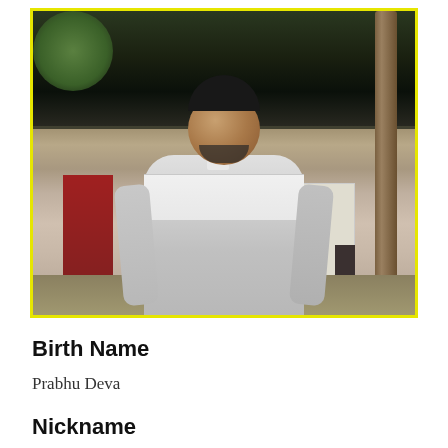[Figure (photo): Photo of Prabhu Deva, a man with short dark hair and beard, wearing a grey and white long-sleeve shirt, standing outdoors with trees and a building in the background. The photo has a yellow border.]
Birth Name
Prabhu Deva
Nickname